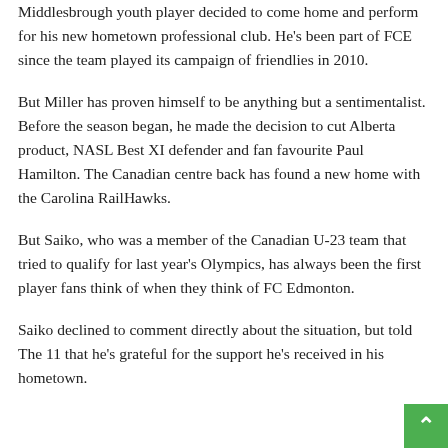Middlesbrough youth player decided to come home and perform for his new hometown professional club. He's been part of FCE since the team played its campaign of friendlies in 2010.
But Miller has proven himself to be anything but a sentimentalist. Before the season began, he made the decision to cut Alberta product, NASL Best XI defender and fan favourite Paul Hamilton. The Canadian centre back has found a new home with the Carolina RailHawks.
But Saiko, who was a member of the Canadian U-23 team that tried to qualify for last year's Olympics, has always been the first player fans think of when they think of FC Edmonton.
Saiko declined to comment directly about the situation, but told The 11 that he's grateful for the support he's received in his hometown.